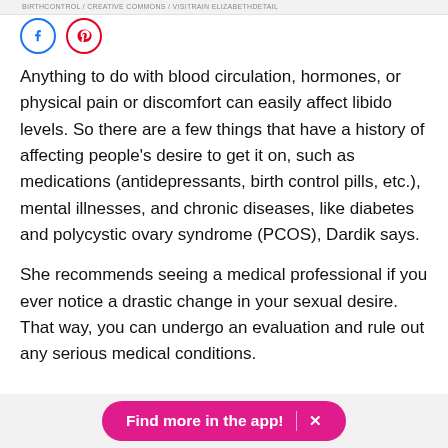BIRTHCONTROL / CREATIVE COMMONS / VISITRAIN ELIZABETHDETAIL
[Figure (other): Facebook and Pinterest social share icon circles]
Anything to do with blood circulation, hormones, or physical pain or discomfort can easily affect libido levels. So there are a few things that have a history of affecting people’s desire to get it on, such as medications (antidepressants, birth control pills, etc.), mental illnesses, and chronic diseases, like diabetes and polycystic ovary syndrome (PCOS), Dardik says.
She recommends seeing a medical professional if you ever notice a drastic change in your sexual desire. That way, you can undergo an evaluation and rule out any serious medical conditions.
Find more in the app!  ×